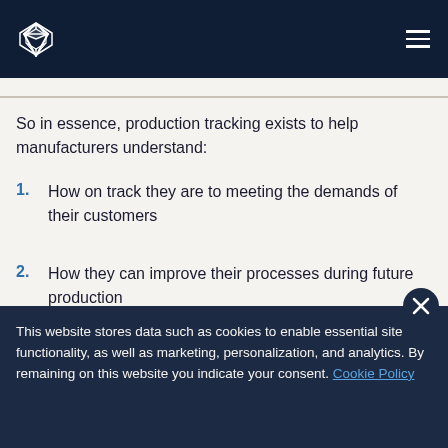[Navigation bar with logo and hamburger menu]
So in essence, production tracking exists to help manufacturers understand:
1. How on track they are to meeting the demands of their customers
2. How they can improve their processes during future production
This website stores data such as cookies to enable essential site functionality, as well as marketing, personalization, and analytics. By remaining on this website you indicate your consent. Cookie Policy